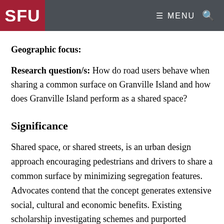SFU  MENU
Geographic focus:
Research question/s: How do road users behave when sharing a common surface on Granville Island and how does Granville Island perform as a shared space?
Significance
Shared space, or shared streets, is an urban design approach encouraging pedestrians and drivers to share a common surface by minimizing segregation features. Advocates contend that the concept generates extensive social, cultural and economic benefits. Existing scholarship investigating schemes and purported